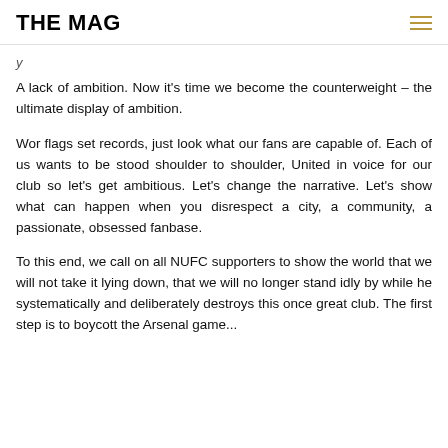THE MAG
A lack of ambition. Now it's time we become the counterweight – the ultimate display of ambition.
Wor flags set records, just look what our fans are capable of. Each of us wants to be stood shoulder to shoulder, United in voice for our club so let's get ambitious. Let's change the narrative. Let's show what can happen when you disrespect a city, a community, a passionate, obsessed fanbase.
To this end, we call on all NUFC supporters to show the world that we will not take it lying down, that we will no longer stand idly by while he systematically and deliberately destroys this once great club. The first step is to boycott the Arsenal game...